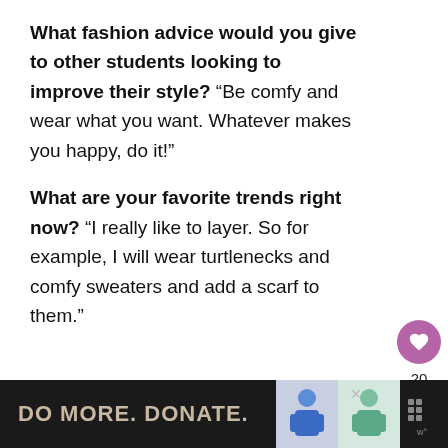What fashion advice would you give to other students looking to improve their style? “Be comfy and wear what you want. Whatever makes you happy, do it!”
What are your favorite trends right now? “I really like to layer. So for example, I will wear turtlenecks and comfy sweaters and add a scarf to them.”